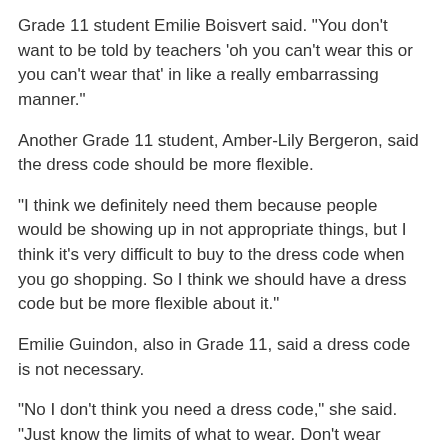Grade 11 student Emilie Boisvert said. "You don't want to be told by teachers 'oh you can't wear this or you can't wear that' in like a really embarrassing manner."
Another Grade 11 student, Amber-Lily Bergeron, said the dress code should be more flexible.
"I think we definitely need them because people would be showing up in not appropriate things, but I think it's very difficult to buy to the dress code when you go shopping. So I think we should have a dress code but be more flexible about it."
Emilie Guindon, also in Grade 11, said a dress code is not necessary.
"No I don't think you need a dress code," she said. "Just know the limits of what to wear. Don't wear booty shorts and a sports bra at school. The rest just doesn't make sense."